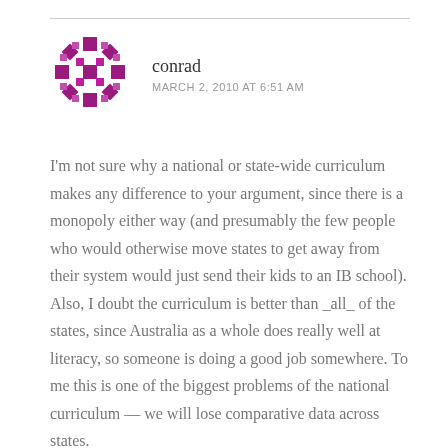[Figure (illustration): Purple/magenta geometric snowflake-like avatar icon for user 'conrad']
conrad
MARCH 2, 2010 AT 6:51 AM
I'm not sure why a national or state-wide curriculum makes any difference to your argument, since there is a monopoly either way (and presumably the few people who would otherwise move states to get away from their system would just send their kids to an IB school). Also, I doubt the curriculum is better than _all_ of the states, since Australia as a whole does really well at literacy, so someone is doing a good job somewhere. To me this is one of the biggest problems of the national curriculum — we will lose comparative data across states.